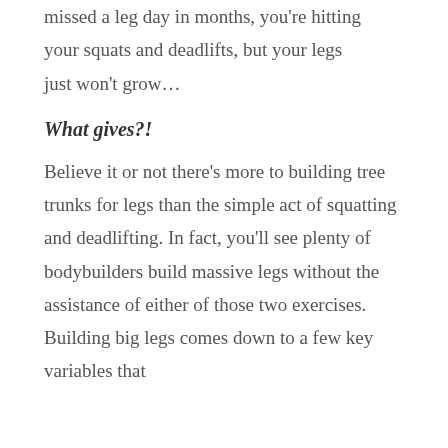missed a leg day in months, you're hitting your squats and deadlifts, but your legs just won't grow…
What gives?!
Believe it or not there's more to building tree trunks for legs than the simple act of squatting and deadlifting. In fact, you'll see plenty of bodybuilders build massive legs without the assistance of either of those two exercises. Building big legs comes down to a few key variables that